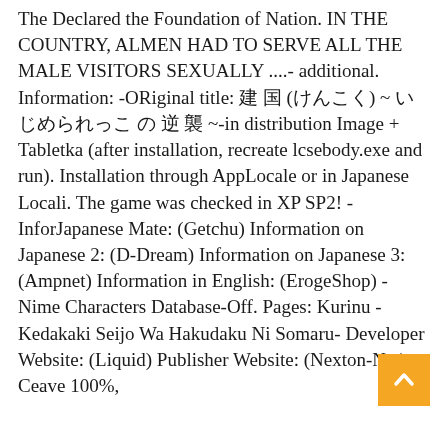The Declared the Foundation of Nation. IN THE COUNTRY, ALMEN HAD TO SERVE ALL THE MALE VISITORS SEXUALLY ....- additional. Information: -ORiginal title: 建 国 (けんこく) ~ いじめられっこ の 逆 襲 ~-in distribution Image + Tabletka (after installation, recreate lcsebody.exe and run). Installation through AppLocale or in Japanese Locali. The game was checked in XP SP2! -InforJapanese Mate: (Getchu) Information on Japanese 2: (D-Dream) Information on Japanese 3: (Ampnet) Information in English: (ErogeShop) -Nime Characters Database-Off. Pages: Kurinu -Kedakaki Seijo Wa Hakudaku Ni Somaru- Developer Website: (Liquid) Publisher Website: (Nexton-Net) -Ceave 100%, Save 100% - Screenshot...